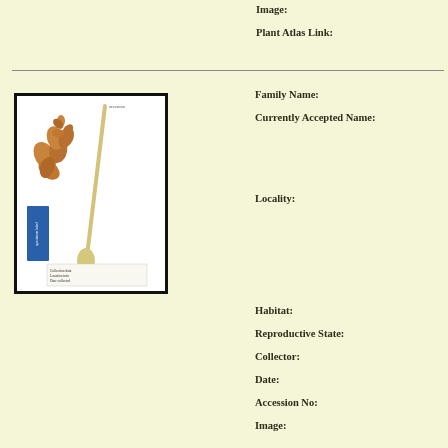Image:
Plant Atlas Link:
[Figure (photo): Herbarium specimen showing dried plant with long scape/stem and small brown flowers/leaves, mounted on white board with blue label and handwritten collection data label at bottom]
Family Name:
Currently Accepted Name:
Locality:
Habitat:
Reproductive State:
Collector:
Date:
Accession No:
Image: